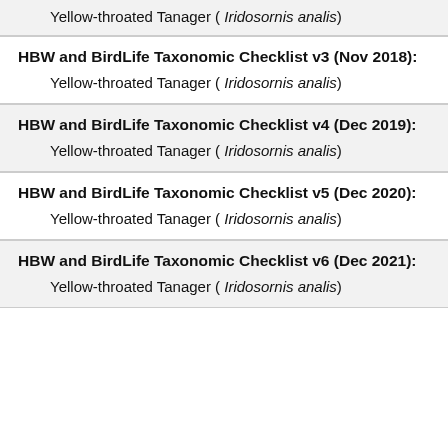2017): Yellow-throated Tanager ( Iridosornis analis)
HBW and BirdLife Taxonomic Checklist v3 (Nov 2018):
Yellow-throated Tanager ( Iridosornis analis)
HBW and BirdLife Taxonomic Checklist v4 (Dec 2019):
Yellow-throated Tanager ( Iridosornis analis)
HBW and BirdLife Taxonomic Checklist v5 (Dec 2020):
Yellow-throated Tanager ( Iridosornis analis)
HBW and BirdLife Taxonomic Checklist v6 (Dec 2021):
Yellow-throated Tanager ( Iridosornis analis)